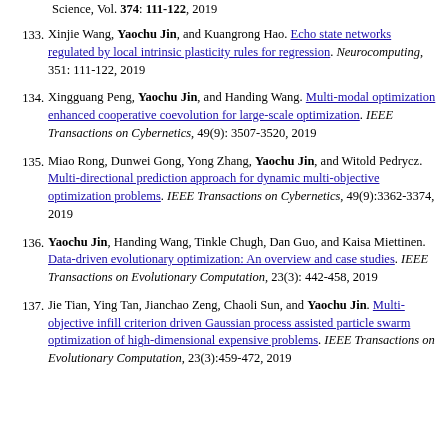133. Xinjie Wang, Yaochu Jin, and Kuangrong Hao. Echo state networks regulated by local intrinsic plasticity rules for regression. Neurocomputing, 351: 111-122, 2019
134. Xingguang Peng, Yaochu Jin, and Handing Wang. Multi-modal optimization enhanced cooperative coevolution for large-scale optimization. IEEE Transactions on Cybernetics, 49(9): 3507-3520, 2019
135. Miao Rong, Dunwei Gong, Yong Zhang, Yaochu Jin, and Witold Pedrycz. Multi-directional prediction approach for dynamic multi-objective optimization problems. IEEE Transactions on Cybernetics, 49(9):3362-3374, 2019
136. Yaochu Jin, Handing Wang, Tinkle Chugh, Dan Guo, and Kaisa Miettinen. Data-driven evolutionary optimization: An overview and case studies. IEEE Transactions on Evolutionary Computation, 23(3): 442-458, 2019
137. Jie Tian, Ying Tan, Jianchao Zeng, Chaoli Sun, and Yaochu Jin. Multi-objective infill criterion driven Gaussian process assisted particle swarm optimization of high-dimensional expensive problems. IEEE Transactions on Evolutionary Computation, 23(3):459-472, 2019